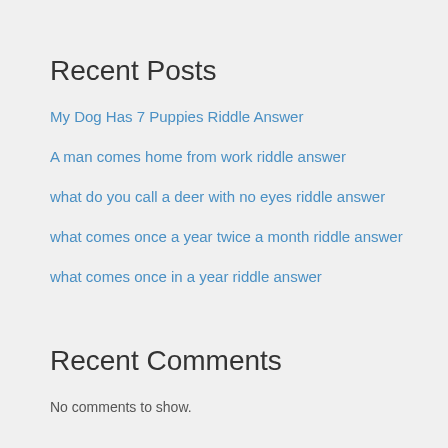Recent Posts
My Dog Has 7 Puppies Riddle Answer
A man comes home from work riddle answer
what do you call a deer with no eyes riddle answer
what comes once a year twice a month riddle answer
what comes once in a year riddle answer
Recent Comments
No comments to show.